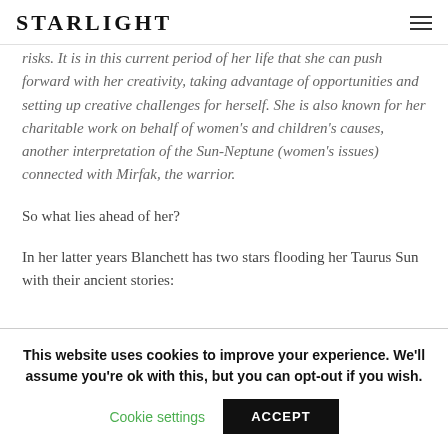STARLIGHT
risks. It is in this current period of her life that she can push forward with her creativity, taking advantage of opportunities and setting up creative challenges for herself. She is also known for her charitable work on behalf of women's and children's causes, another interpretation of the Sun-Neptune (women's issues) connected with Mirfak, the warrior.
So what lies ahead of her?
In her latter years Blanchett has two stars flooding her Taurus Sun with their ancient stories:
This website uses cookies to improve your experience. We'll assume you're ok with this, but you can opt-out if you wish.
Cookie settings
ACCEPT